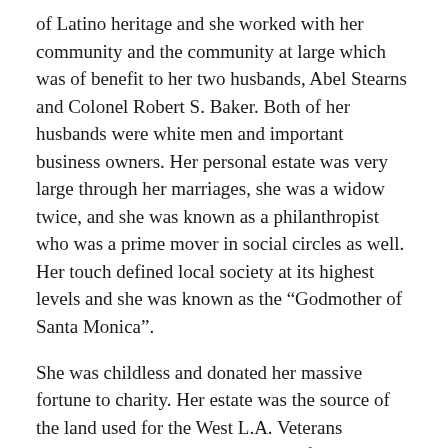of Latino heritage and she worked with her community and the community at large which was of benefit to her two husbands, Abel Stearns and Colonel Robert S. Baker. Both of her husbands were white men and important business owners. Her personal estate was very large through her marriages, she was a widow twice, and she was known as a philanthropist who was a prime mover in social circles as well. Her touch defined local society at its highest levels and she was known as the “Godmother of Santa Monica”.
She was childless and donated her massive fortune to charity. Her estate was the source of the land used for the West L.A. Veterans Administration compound as she left it specifically to the city for the benefit of veterans.
Two streets in Los Angeles are named after her family, Bandini Boulevard and Stearns Drive.
By Staff Report June 10, 2022